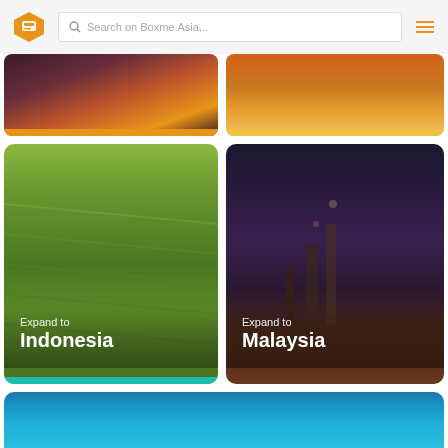[Figure (screenshot): Boxme.Asia website header with logo, search bar, and hamburger menu]
[Figure (photo): Partial card - city night aerial view with orange/red accent bar]
[Figure (photo): Partial card - water sunset view with yellow accent bar]
[Figure (photo): Card - Expand to Indonesia, rice fields aerial view with teal accent bar]
[Figure (photo): Card - Expand to Malaysia, city night skyline view]
[Figure (photo): Partial card - ocean/water aerial view in blue tones]